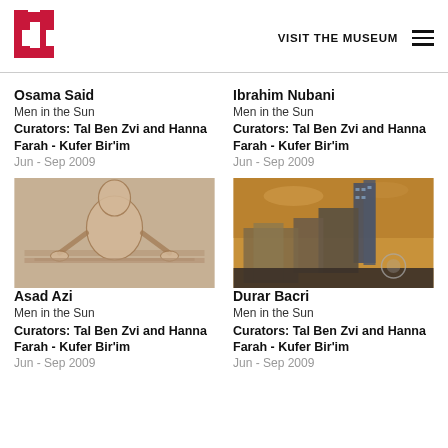VISIT THE MUSEUM
Osama Said
Men in the Sun
Curators: Tal Ben Zvi and Hanna Farah - Kufer Bir'im
Jun - Sep 2009
Ibrahim Nubani
Men in the Sun
Curators: Tal Ben Zvi and Hanna Farah - Kufer Bir'im
Jun - Sep 2009
[Figure (photo): Painting of a figure, warm beige/terracotta tones, appears to show a person in a seated or crouching position]
[Figure (photo): Painting of urban cityscape with buildings in warm amber/brown tones, aerial perspective]
Asad Azi
Men in the Sun
Curators: Tal Ben Zvi and Hanna Farah - Kufer Bir'im
Jun - Sep 2009
Durar Bacri
Men in the Sun
Curators: Tal Ben Zvi and Hanna Farah - Kufer Bir'im
Jun - Sep 2009